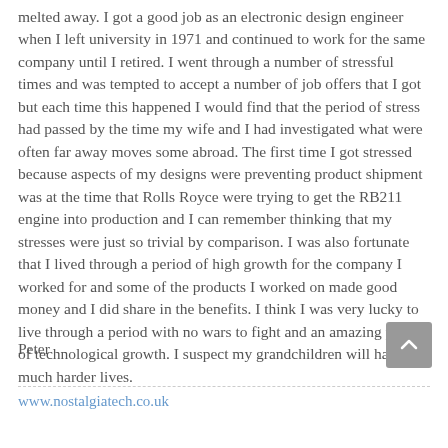melted away. I got a good job as an electronic design engineer when I left university in 1971 and continued to work for the same company until I retired. I went through a number of stressful times and was tempted to accept a number of job offers that I got but each time this happened I would find that the period of stress had passed by the time my wife and I had investigated what were often far away moves some abroad. The first time I got stressed because aspects of my designs were preventing product shipment was at the time that Rolls Royce were trying to get the RB211 engine into production and I can remember thinking that my stresses were just so trivial by comparison. I was also fortunate that I lived through a period of high growth for the company I worked for and some of the products I worked on made good money and I did share in the benefits. I think I was very lucky to live through a period with no wars to fight and an amazing period of technological growth. I suspect my grandchildren will have much harder lives.
Peter
www.nostalgiatech.co.uk